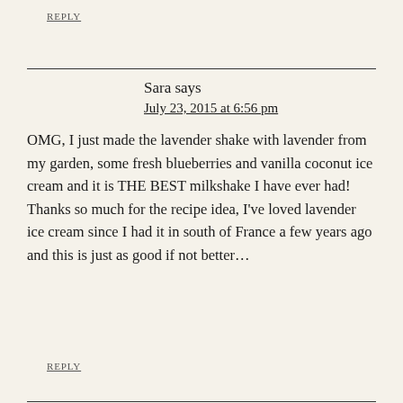REPLY
Sara says
July 23, 2015 at 6:56 pm
OMG, I just made the lavender shake with lavender from my garden, some fresh blueberries and vanilla coconut ice cream and it is THE BEST milkshake I have ever had! Thanks so much for the recipe idea, I've loved lavender ice cream since I had it in south of France a few years ago and this is just as good if not better...
REPLY